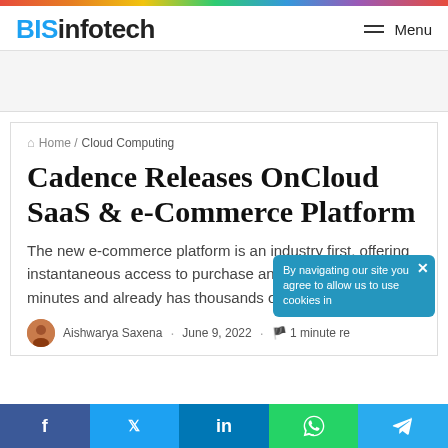BISinfotech — Menu
Home / Cloud Computing
Cadence Releases OnCloud SaaS & e-Commerce Platform
The new e-commerce platform is an industry first, offering instantaneous access to purchase and deploy products in minutes and already has thousands of early users.
Aishwarya Saxena · June 9, 2022 · 1 minute re...
By navigating our site you agree to allow us to use cookies in...
f  t  in  WhatsApp  Telegram